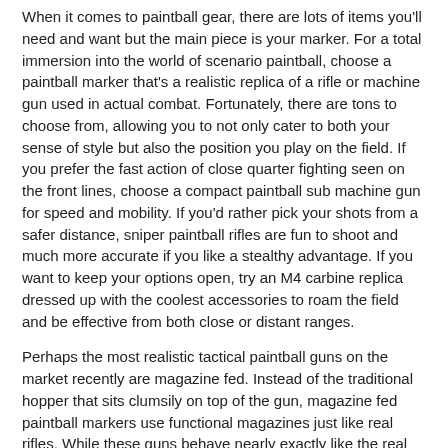When it comes to paintball gear, there are lots of items you'll need and want but the main piece is your marker. For a total immersion into the world of scenario paintball, choose a paintball marker that's a realistic replica of a rifle or machine gun used in actual combat. Fortunately, there are tons to choose from, allowing you to not only cater to both your sense of style but also the position you play on the field. If you prefer the fast action of close quarter fighting seen on the front lines, choose a compact paintball sub machine gun for speed and mobility. If you'd rather pick your shots from a safer distance, sniper paintball rifles are fun to shoot and much more accurate if you like a stealthy advantage. If you want to keep your options open, try an M4 carbine replica dressed up with the coolest accessories to roam the field and be effective from both close or distant ranges.
Perhaps the most realistic tactical paintball guns on the market recently are magazine fed. Instead of the traditional hopper that sits clumsily on top of the gun, magazine fed paintball markers use functional magazines just like real rifles. While these guns behave nearly exactly like the real thing, there is a trade off for carrying less ammo; most paintball gun magazines carry no more than 20 balls. Another fun aspect of using tactical paintball guns is their ability to accept accessories and parts from real guns. Most tactical markers have military spec rails that are compatible with any scope, sight, laser, grips or carry handles that would work any real firearm. This makes customization totally fun as there are